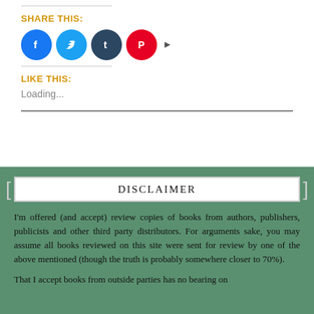SHARE THIS:
[Figure (illustration): Four social media share buttons: Facebook (blue circle with f), Twitter (light blue circle with bird), Tumblr (dark blue circle with t), Pinterest (red circle with P), followed by a right-pointing arrow.]
LIKE THIS:
Loading...
DISCLAIMER
I'm offered (and accept) review copies of books from authors, publishers, publicists and other third party distributors. For arguments sake, you may assume all books reviewed on this site were sent for review by one of the above mentioned (though the truth is probably somewhere closer to 70%).
That I accept books from outside parties has no bearing on